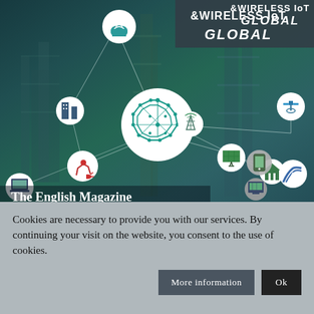[Figure (illustration): Industrial IoT concept image with factory/industrial background overlaid with a network of connected IoT device icons (cloud, brain/AI, buildings, solar panels, home, mobile, road, satellite, robot arm, sensor nodes) connected by white network lines on a blue-green teal gradient background]
&WIRELESS IoT GLOBAL
The English Magazine
Cookies are necessary to provide you with our services. By continuing your visit on the website, you consent to the use of cookies.
More information   Ok